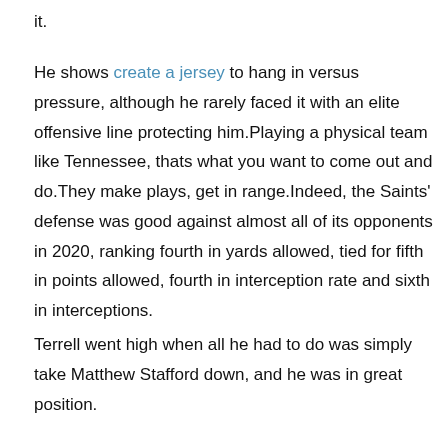it.
He shows create a jersey to hang in versus pressure, although he rarely faced it with an elite offensive line protecting him.Playing a physical team like Tennessee, thats what you want to come out and do.They make plays, get in range.Indeed, the Saints' defense was good against almost all of its opponents in 2020, ranking fourth in yards allowed, tied for fifth in points allowed, fourth in interception rate and sixth in interceptions.
Terrell went high when all he had to do was simply take Matthew Stafford down, and he was in great position.